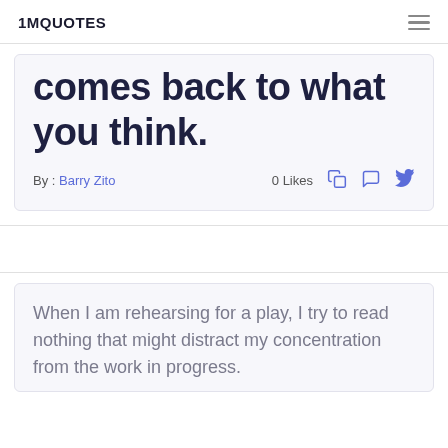1MQUOTES
comes back to what you think.
By : Barry Zito   0 Likes
When I am rehearsing for a play, I try to read nothing that might distract my concentration from the work in progress.